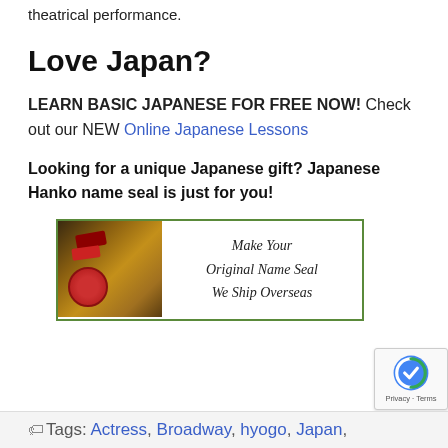theatrical performance.
Love Japan?
LEARN BASIC JAPANESE FOR FREE NOW! Check out our NEW Online Japanese Lessons
Looking for a unique Japanese gift? Japanese Hanko name seal is just for you!
[Figure (illustration): Advertisement banner for Japanese Hanko name seal with a photo of hanko seals on the left and cursive text 'Make Your Original Name Seal We Ship Overseas' on the right, bordered in green]
Tags: Actress, Broadway, hyogo, Japan,